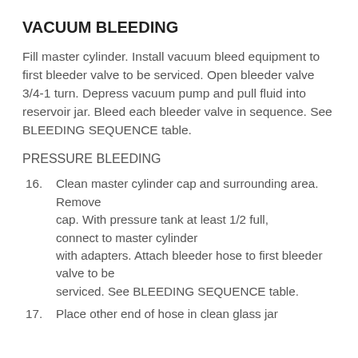VACUUM BLEEDING
Fill master cylinder. Install vacuum bleed equipment to first bleeder valve to be serviced. Open bleeder valve 3/4-1 turn. Depress vacuum pump and pull fluid into reservoir jar. Bleed each bleeder valve in sequence. See BLEEDING SEQUENCE table.
PRESSURE BLEEDING
16. Clean master cylinder cap and surrounding area. Remove cap. With pressure tank at least 1/2 full, connect to master cylinder with adapters. Attach bleeder hose to first bleeder valve to be serviced. See BLEEDING SEQUENCE table.
17. Place other end of hose in clean glass jar